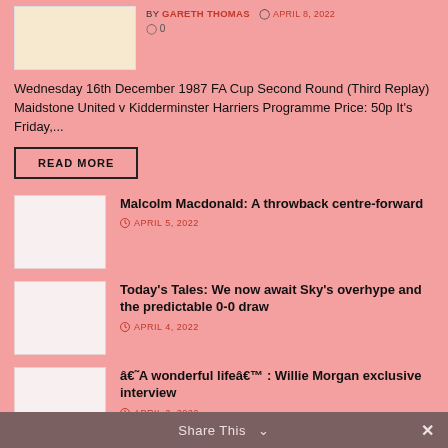[Figure (photo): Maidstone United football programme cover image]
BY GARETH THOMAS  APRIL 8, 2022
○ 0
Wednesday 16th December 1987 FA Cup Second Round (Third Replay) Maidstone United v Kidderminster Harriers Programme Price: 50p It's Friday,...
READ MORE
[Figure (photo): Thumbnail image for Malcolm Macdonald article]
Malcolm Macdonald: A throwback centre-forward
APRIL 5, 2022
[Figure (photo): Thumbnail image for Today's Tales article]
Today's Tales: We now await Sky's overhype and the predictable 0-0 draw
APRIL 4, 2022
[Figure (photo): Thumbnail image for Willie Morgan article]
â€˜A wonderful lifeâ€™ : Willie Morgan exclusive interview
APRIL 2, 2022
[Figure (photo): Partial thumbnail for Programme Review Newhall United article]
Programme Review: Newhall United v
Share This  ∨  ✕